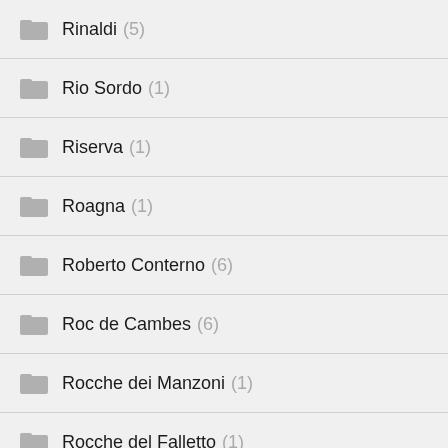Rinaldi (5)
Rio Sordo (1)
Riserva (1)
Roagna (1)
Roberto Conterno (6)
Roc de Cambes (6)
Rocche dei Manzoni (1)
Rocche del Falletto (1)
Roche de Bellene (2)
Rochevron (1)